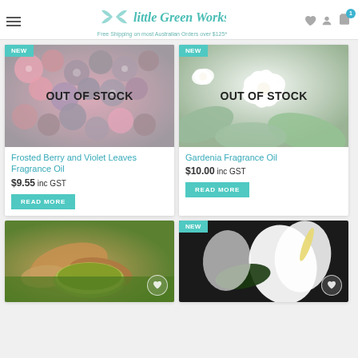Little Green Workshops — Free Shipping on most Australian Orders over $125*
[Figure (screenshot): Product card: Frosted Berry and Violet Leaves Fragrance Oil, marked OUT OF STOCK with NEW badge, price $9.55 inc GST, READ MORE button]
[Figure (screenshot): Product card: Gardenia Fragrance Oil, marked OUT OF STOCK with NEW badge, price $10.00 inc GST, READ MORE button]
[Figure (photo): Partial product card bottom row: ginger tea/herb image with wishlist heart circle icon]
[Figure (photo): Partial product card bottom row: white flower/anthurium image with NEW badge and wishlist heart circle icon]